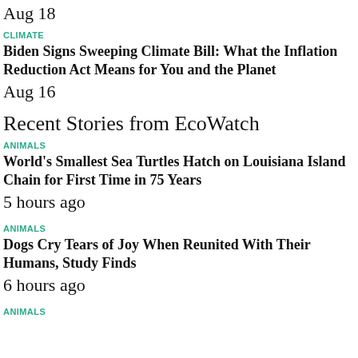Aug 18
CLIMATE
Biden Signs Sweeping Climate Bill: What the Inflation Reduction Act Means for You and the Planet
Aug 16
Recent Stories from EcoWatch
ANIMALS
World's Smallest Sea Turtles Hatch on Louisiana Island Chain for First Time in 75 Years
5 hours ago
ANIMALS
Dogs Cry Tears of Joy When Reunited With Their Humans, Study Finds
6 hours ago
ANIMALS